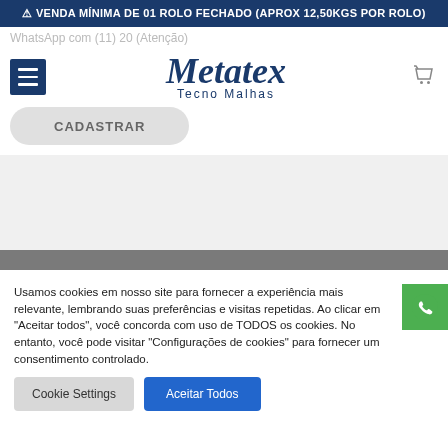⚠ VENDA MÍNIMA DE 01 ROLO FECHADO (APROX 12,50KGS POR ROLO)
[Figure (logo): Metatex Tecno Malhas logo with hamburger menu, register button, and cart icon]
Usamos cookies em nosso site para fornecer a experiência mais relevante, lembrando suas preferências e visitas repetidas. Ao clicar em "Aceitar todos", você concorda com uso de TODOS os cookies. No entanto, você pode visitar "Configurações de cookies" para fornecer um consentimento controlado.
Cookie Settings | Aceitar Todos